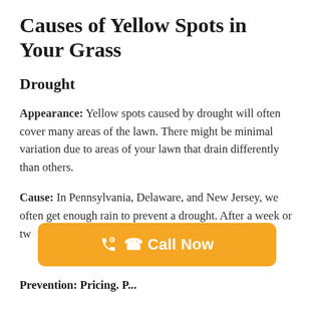Causes of Yellow Spots in Your Grass
Drought
Appearance: Yellow spots caused by drought will often cover many areas of the lawn. There might be minimal variation due to areas of your lawn that drain differently than others.
Cause: In Pennsylvania, Delaware, and New Jersey, we often get enough rain to prevent a drought. After a week or two without significant rain, your lawn might be at risk.
Prevention: Pricing. P...